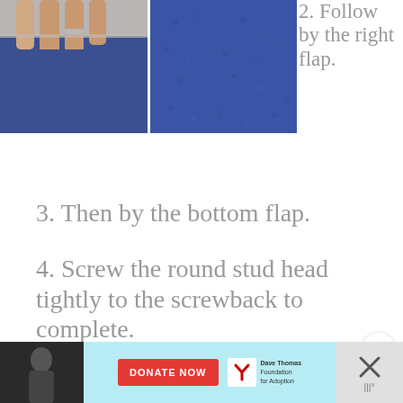[Figure (photo): Two photos of blue leather fabric side by side — left shows fingers pressing blue leather, right shows close-up texture of blue leather]
2. Follow by the right flap.
3. Then by the bottom flap.
4. Screw the round stud head tightly to the screwback to complete.
[Figure (screenshot): Advertisement banner: 'Learn the signs to prevent school shootings.' with Sandy Hook Promise logo and tree graphic on black background]
[Figure (screenshot): Bottom advertisement bar: Dave Thomas Foundation for Adoption DONATE NOW button]
[Figure (screenshot): Floating side panel with up arrow, heart (save) button, and share button; What's Next panel showing Leather Key Pouch thumbnail]